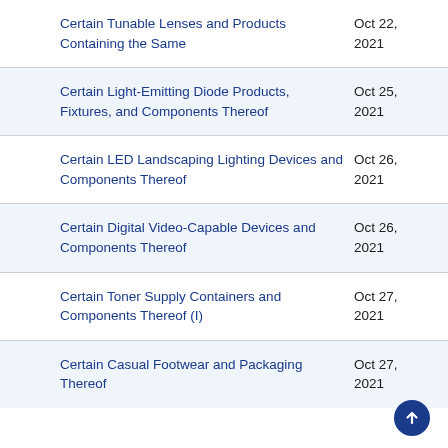Certain Tunable Lenses and Products Containing the Same
Certain Light-Emitting Diode Products, Fixtures, and Components Thereof
Certain LED Landscaping Lighting Devices and Components Thereof
Certain Digital Video-Capable Devices and Components Thereof
Certain Toner Supply Containers and Components Thereof (I)
Certain Casual Footwear and Packaging Thereof